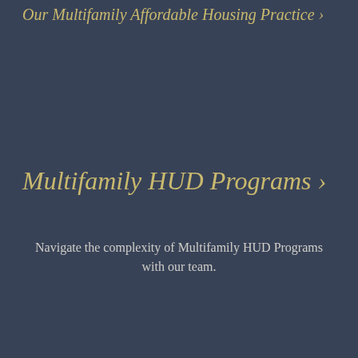Our Multifamily Affordable Housing Practice ›
Multifamily HUD Programs ›
Navigate the complexity of Multifamily HUD Programs with our team.